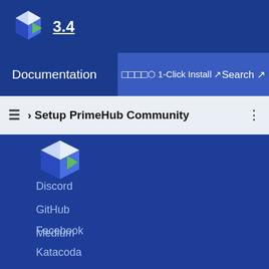3.4
Documentation | 1-Click Install ↗ | Search ↗
≡ › Setup PrimeHub Community
Discord
GitHub
Medium
Facebook
Katacoda
More
About InfuseAI